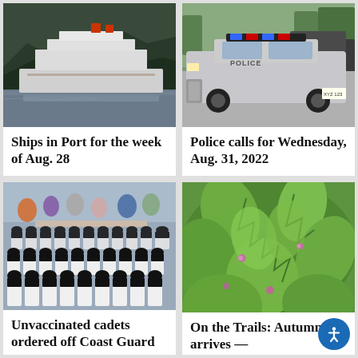[Figure (photo): A large cruise ship docked in a port surrounded by forested mountains]
Ships in Port for the week of Aug. 28
[Figure (photo): A police car parked on a street]
Police calls for Wednesday, Aug. 31, 2022
[Figure (photo): Rows of uniformed Coast Guard cadets in white and black uniforms with hats]
Unvaccinated cadets ordered off Coast Guard
[Figure (photo): Green leafy plants with small pink flowers, possibly nettles or autumn plants on a trail]
On the Trails: Autumn arrives —